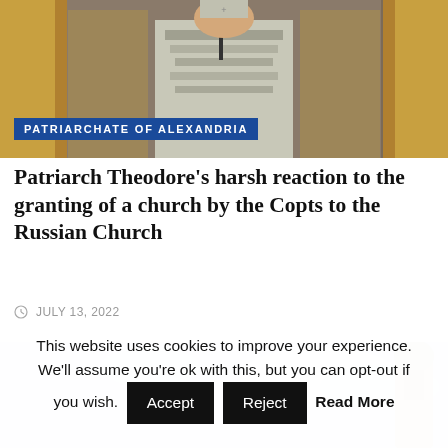[Figure (photo): Photo of a religious figure (patriarch) in ornate vestments standing at a microphone in front of golden church decorations. A blue badge reads 'PATRIARCHATE OF ALEXANDRIA'.]
Patriarch Theodore's harsh reaction to the granting of a church by the Copts to the Russian Church
JULY 13, 2022
[Figure (photo): Partial photo showing a stone statue against a cloudy sky background.]
This website uses cookies to improve your experience. We'll assume you're ok with this, but you can opt-out if you wish. Accept Reject Read More